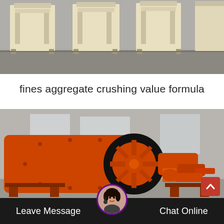[Figure (photo): Industrial crushing machines (jaw crushers) in cream/beige color standing in a warehouse or factory floor, black and white/grey floor, multiple units visible.]
fines aggregate crushing value formula
[Figure (photo): Large orange industrial ball mill machine with a prominent toothed black gear wheel visible, shown in a factory/workshop setting.]
Leave Message
Chat Online